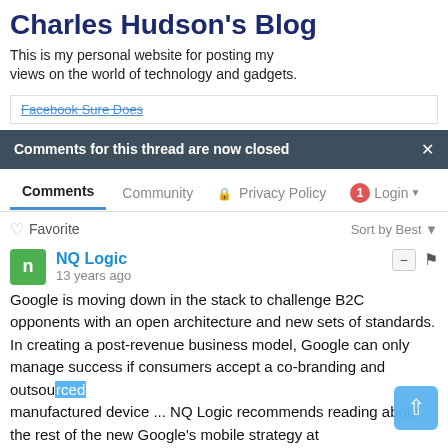Charles Hudson's Blog
This is my personal website for posting my views on the world of technology and gadgets.
Facebook Sure Does
Comments for this thread are now closed
Comments   Community   Privacy Policy   1   Login
♡ Favorite   Sort by Best
NQ Logic
13 years ago
Google is moving down in the stack to challenge B2C opponents with an open architecture and new sets of standards. In creating a post-revenue business model, Google can only manage success if consumers accept a co-branding and outsourced manufactured device ... NQ Logic recommends reading about the rest of the new Google's mobile strategy at www.nqlogic.com